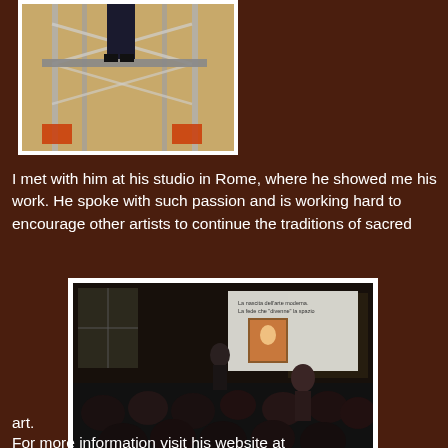[Figure (photo): A person standing on metal scaffolding in an indoor space, viewed from below]
I met with him at his studio in Rome, where he showed me his work. He spoke with such passion and is working hard to encourage other artists to continue the traditions of sacred
[Figure (photo): Dark image of an audience attending a lecture/presentation, with a projected slide visible at the front showing text and an artwork image]
art.
For more information visit his website at